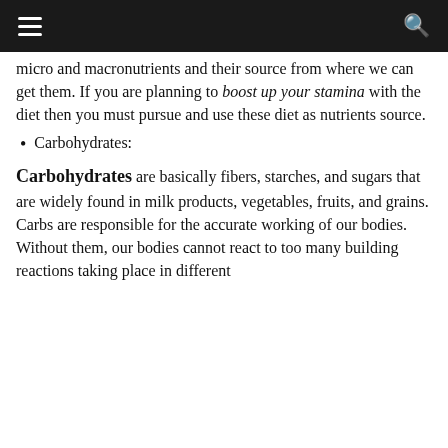☰  🔍
micro and macronutrients and their source from where we can get them. If you are planning to boost up your stamina with the diet then you must pursue and use these diet as nutrients source.
Carbohydrates:
Carbohydrates are basically fibers, starches, and sugars that are widely found in milk products, vegetables, fruits, and grains. Carbs are responsible for the accurate working of our bodies. Without them, our bodies cannot react to too many building reactions taking place in different